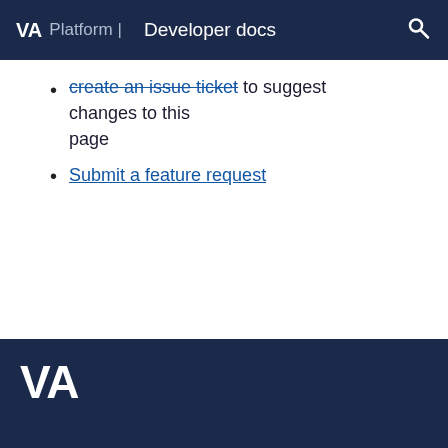VA Platform | Developer docs
create an issue ticket to suggest changes to this page
Submit a feature request
Copyright © 2022 Department of Veterans Affairs · Powered by Scroll Viewport & Atlassian Confluence